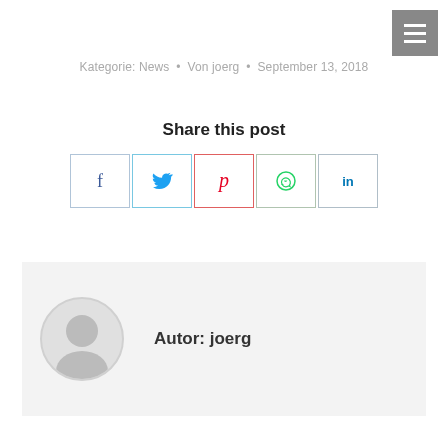[Figure (other): Hamburger menu icon button (three horizontal white lines on grey background), top right corner]
Kategorie: News • Von joerg • September 13, 2018
Share this post
[Figure (other): Row of five social share buttons: Facebook (f), Twitter (bird), Pinterest (P), WhatsApp (phone), LinkedIn (in)]
[Figure (other): Author box with grey background, circular avatar placeholder, and text 'Autor: joerg']